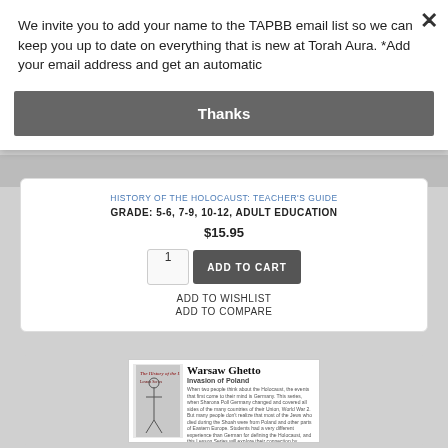We invite you to add your name to the TAPBB email list so we can keep you up to date on everything that is new at Torah Aura. *Add your email address and get an automatic
Thanks
HISTORY OF THE HOLOCAUST: TEACHER'S GUIDE
GRADE: 5-6, 7-9, 10-12, ADULT EDUCATION
$15.95
ADD TO CART
ADD TO WISHLIST
ADD TO COMPARE
[Figure (screenshot): Book cover or page showing 'Warsaw Ghetto' title with 'Invasion of Poland' subtitle, small illustration on left side with figure/soldier sketch, body text columns about Holocaust history.]